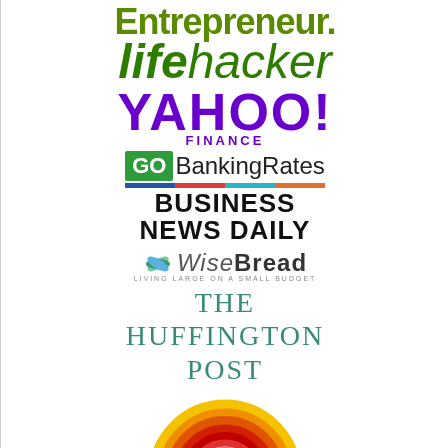[Figure (logo): Entrepreneur magazine logo in green bold font]
[Figure (logo): Lifehacker logo in dark green italic bold font]
[Figure (logo): Yahoo! Finance logo in purple]
[Figure (logo): GOBankingRates logo with green GO box and black text]
[Figure (logo): Business News Daily logo with multicolor bar and bold black text]
[Figure (logo): WiseBread logo with leaf icon and tagline 'Living Large on a Small Budget']
[Figure (logo): The Huffington Post logo in teal serif font]
[Figure (logo): Rainbow concentric arcs logo in yellow, orange, red colors]